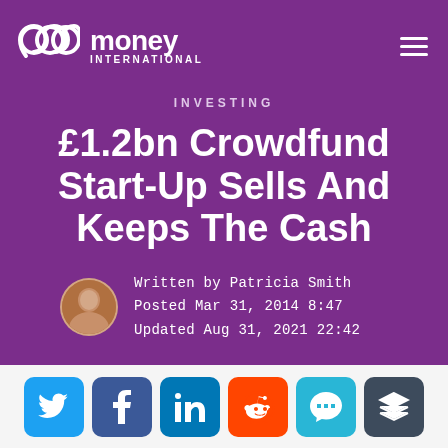money INTERNATIONAL
INVESTING
£1.2bn Crowdfund Start-Up Sells And Keeps The Cash
Written by Patricia Smith
Posted Mar 31, 2014 8:47
Updated Aug 31, 2021 22:42
[Figure (other): Social sharing buttons row: Twitter, Facebook, LinkedIn, Reddit, Comment, Buffer]